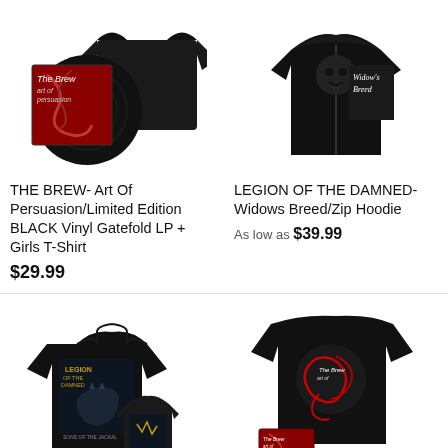[Figure (photo): THE BREW Art Of Persuasion limited edition black vinyl gatefold LP with red/black album art cover and black t-shirt]
THE BREW- Art Of Persuasion/Limited Edition BLACK Vinyl Gatefold LP + Girls T-Shirt
$29.99
[Figure (photo): LEGION OF THE DAMNED Widows Breed zip hoodie - black hoodie with gothic text and skull graphic]
LEGION OF THE DAMNED- Widows Breed/Zip Hoodie
As low as $39.99
[Figure (photo): LEGION OF THE DAMNED black t-shirt with band artwork, shown front and back]
[Figure (photo): THE BREW black t-shirt with red artwork and CD bundle]